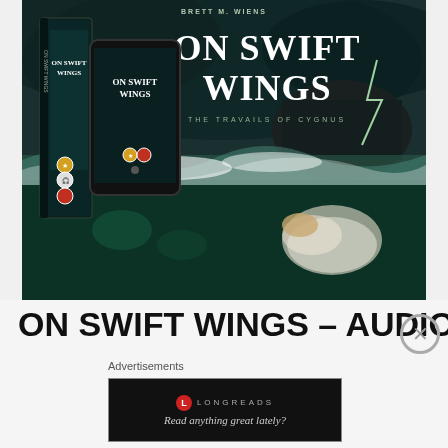[Figure (illustration): Book cover promotional image for 'On Swift Wings - The Travails of Cygnus' by Brett M. Wiens, showing a dramatic ocean storm scene with a person underwater, book and tablet mockups on left side, title text overlaid on right side.]
ON SWIFT WINGS - AUDIO
Advertisements
[Figure (screenshot): Longreads advertisement banner with dark background, Longreads logo and tagline 'Read anything great lately?']